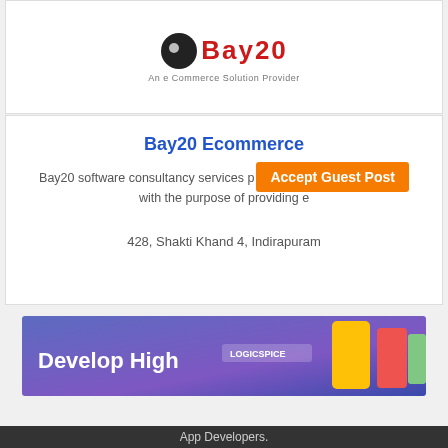[Figure (logo): Bay20 logo with circular icon and red stylized text, subtitle: An e Commerce Solution Provider]
Bay20 Ecommerce
Bay20 software consultancy services p... with the purpose of providing e...
428, Shakti Khand 4, Indirapuram
[Figure (illustration): Advertisement banner with purple gradient background showing 'Develop High' text, Logicspice logo, and app mockup icons on the right]
App Developers.